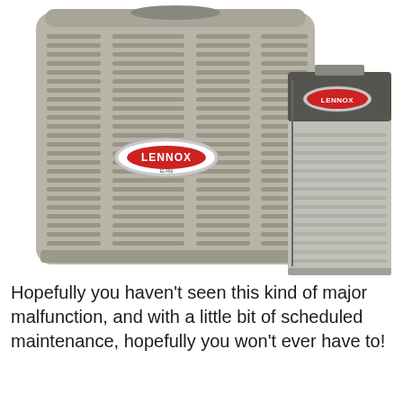[Figure (photo): Photo of two Lennox HVAC units side by side: a large outdoor air conditioner/heat pump unit on the left with louvered metal casing and Lennox logo badge, and a tall indoor furnace/air handler unit on the right with dark top panel and Lennox logo badge. Both units are light gray/beige in color.]
Hopefully you haven't seen this kind of major malfunction, and with a little bit of scheduled maintenance, hopefully you won't ever have to!